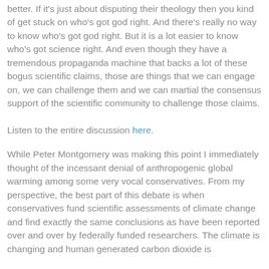better. If it's just about disputing their theology then you kind of get stuck on who's got god right. And there's really no way to know who's got god right. But it is a lot easier to know who's got science right. And even though they have a tremendous propaganda machine that backs a lot of these bogus scientific claims, those are things that we can engage on, we can challenge them and we can martial the consensus support of the scientific community to challenge those claims.
Listen to the entire discussion here.
While Peter Montgomery was making this point I immediately thought of the incessant denial of anthropogenic global warming among some very vocal conservatives. From my perspective, the best part of this debate is when conservatives fund scientific assessments of climate change and find exactly the same conclusions as have been reported over and over by federally funded researchers. The climate is changing and human generated carbon dioxide is